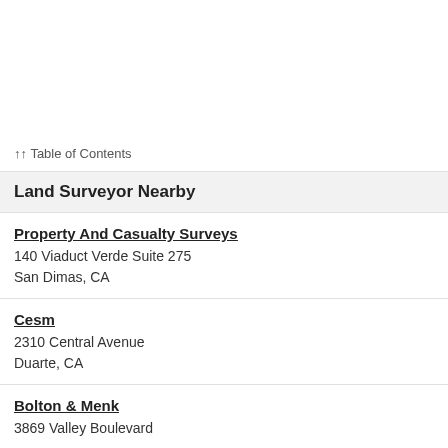↑↑ Table of Contents
Land Surveyor Nearby
Property And Casualty Surveys
140 Viaduct Verde Suite 275
San Dimas, CA
Cesm
2310 Central Avenue
Duarte, CA
Bolton & Menk
3869 Valley Boulevard